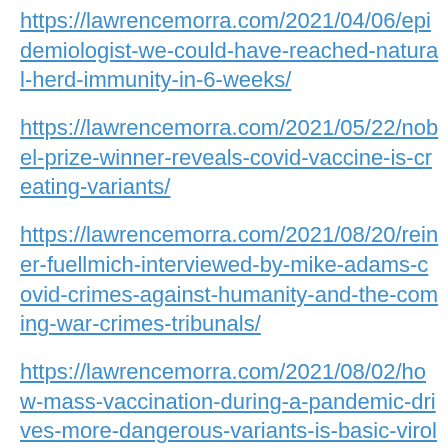https://lawrencemorra.com/2021/04/06/epidemiologist-we-could-have-reached-natural-herd-immunity-in-6-weeks/
https://lawrencemorra.com/2021/05/22/nobel-prize-winner-reveals-covid-vaccine-is-creating-variants/
https://lawrencemorra.com/2021/08/20/reiner-fuellmich-interviewed-by-mike-adams-covid-crimes-against-humanity-and-the-coming-war-crimes-tribunals/
https://lawrencemorra.com/2021/08/02/how-mass-vaccination-during-a-pandemic-drives-more-dangerous-variants-is-basic-virology-and-basic-biology/